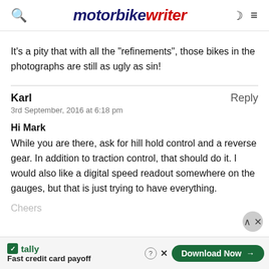motorbike writer
It’s a pity that with all the “refinements”, those bikes in the photographs are still as ugly as sin!
Karl
3rd September, 2016 at 6:18 pm

Hi Mark
While you are there, ask for hill hold control and a reverse gear. In addition to traction control, that should do it. I would also like a digital speed readout somewhere on the gauges, but that is just trying to have everything.
Cheers
[Figure (screenshot): Tally advertisement banner: Fast credit card payoff with Download Now button]